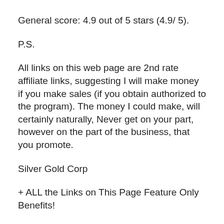General score: 4.9 out of 5 stars (4.9/ 5).
P.S.
All links on this web page are 2nd rate affiliate links, suggesting I will make money if you make sales (if you obtain authorized to the program). The money I could make, will certainly naturally, Never get on your part, however on the part of the business, that you promote.
Silver Gold Corp
+ ALL the Links on This Page Feature Only Benefits!